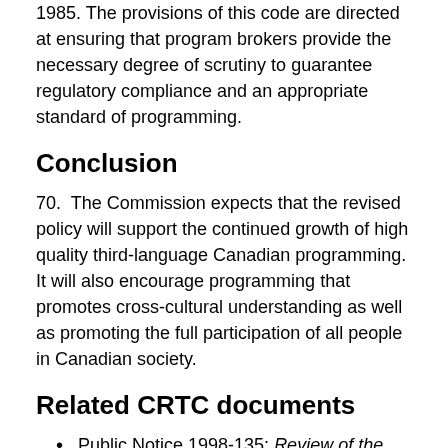1985. The provisions of this code are directed at ensuring that program brokers provide the necessary degree of scrutiny to guarantee regulatory compliance and an appropriate standard of programming.
Conclusion
70.  The Commission expects that the revised policy will support the continued growth of high quality third-language Canadian programming. It will also encourage programming that promotes cross-cultural understanding as well as promoting the full participation of all people in Canadian society.
Related CRTC documents
Public Notice 1998-135: Review of the Broadcasting Policy Reflecting Canada's Linguistic and Cultural Diversity - Call for Comments
Public Notice 1998-8: Additional National Television